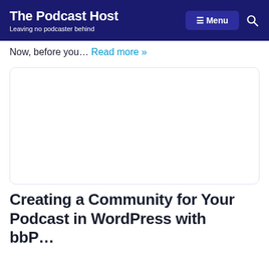The Podcast Host — Leaving no podcaster behind
Now, before you… Read more »
[Figure (other): White card/image placeholder with rounded corners and light border]
Creating a Community for Your Podcast in WordPress with